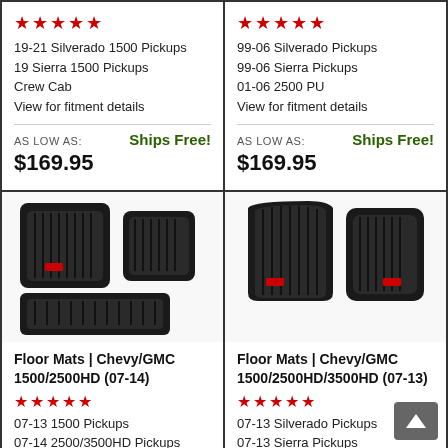★★★★★ | 19-21 Silverado 1500 Pickups | 19 Sierra 1500 Pickups | Crew Cab | View for fitment details | AS LOW AS: $169.95 | Ships Free!
★★★★★ | 99-06 Silverado Pickups | 99-06 Sierra Pickups | 01-06 2500 PU | View for fitment details | AS LOW AS: $169.95 | Ships Free!
[Figure (photo): Black rubber floor mats for Chevy/GMC 1500/2500HD (07-14), showing front and rear mat pieces]
Floor Mats | Chevy/GMC 1500/2500HD (07-14)
★★★★★ | 07-13 1500 Pickups | 07-14 2500/3500HD Pickups | View for fitment details
[Figure (photo): Black rubber floor mats for Chevy/GMC 1500/2500HD/3500HD (07-13), showing driver and passenger side mats]
Floor Mats | Chevy/GMC 1500/2500HD/3500HD (07-13)
★★★★★ | 07-13 Silverado Pickups | 07-13 Sierra Pickups | View for fitment details